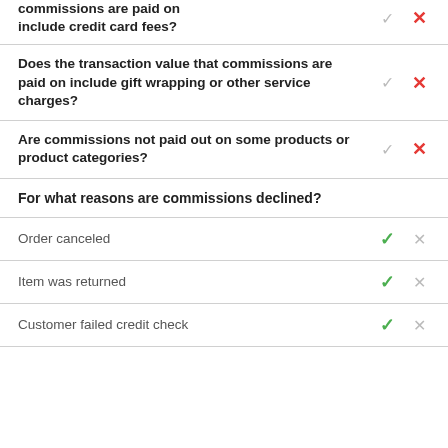commissions are paid on include credit card fees?
Does the transaction value that commissions are paid on include gift wrapping or other service charges?
Are commissions not paid out on some products or product categories?
For what reasons are commissions declined?
Order canceled
Item was returned
Customer failed credit check